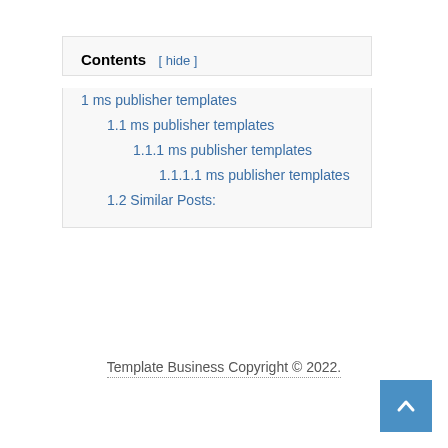Contents [ hide ]
1  ms publisher templates
1.1  ms publisher templates
1.1.1  ms publisher templates
1.1.1.1  ms publisher templates
1.2  Similar Posts:
Template Business Copyright © 2022.